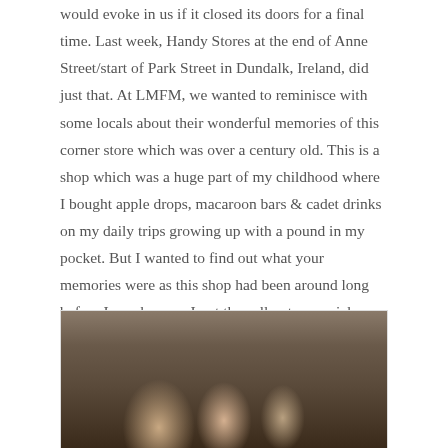would evoke in us if it closed its doors for a final time. Last week, Handy Stores at the end of Anne Street/start of Park Street in Dundalk, Ireland, did just that. At LMFM, we wanted to reminisce with some locals about their wonderful memories of this corner store which was over a century old. This is a shop which was a huge part of my childhood where I bought apple drops, macaroon bars & cadet drinks on my daily trips growing up with a pound in my pocket. But I wanted to find out what your memories were as this shop had been around long before I was born so I put the call out on social media to see if people wanted to share their memories & they came flooding in.
[Figure (photo): Photo of people inside a corner store/shop interior. Three people visible, one bald man in center, shelves with products in background.]